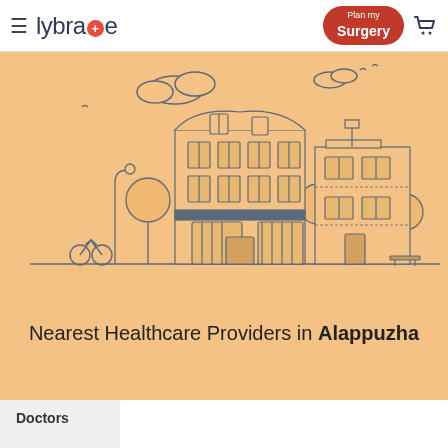lybrate+ | Plan my Surgery
[Figure (illustration): Line art illustration of a city street with medical/healthcare buildings, trees, bicycle, and bench on a peach/orange background]
Nearest Healthcare Providers in Alappuzha
Doctors